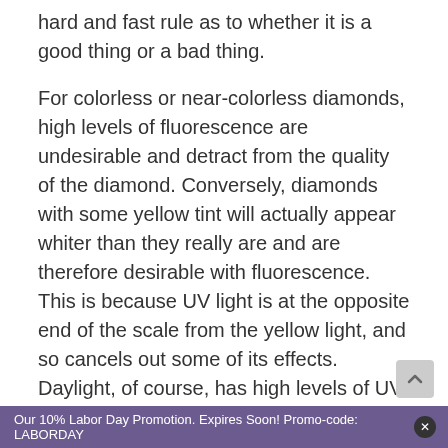hard and fast rule as to whether it is a good thing or a bad thing.
For colorless or near-colorless diamonds, high levels of fluorescence are undesirable and detract from the quality of the diamond. Conversely, diamonds with some yellow tint will actually appear whiter than they really are and are therefore desirable with fluorescence. This is because UV light is at the opposite end of the scale from the yellow light, and so cancels out some of its effects. Daylight, of course, has high levels of UV light with
Our 10% Labor Day Promotion. Expires Soon! Promo-code: LABORDAY